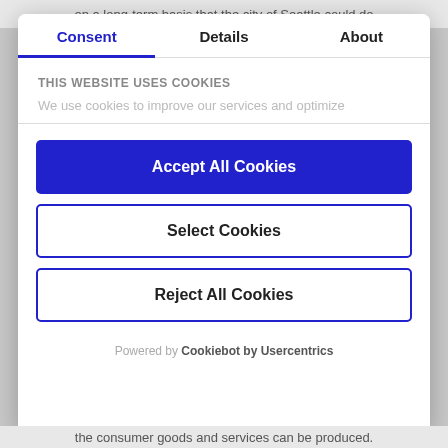on a long-term basis that the city of Seattle could do
Consent	Details	About
THIS WEBSITE USES COOKIES
We use cookies to improve our services and optimize
Accept All Cookies
Select Cookies
Reject All Cookies
Powered by Cookiebot by Usercentrics
the consumer goods and services can be produced.